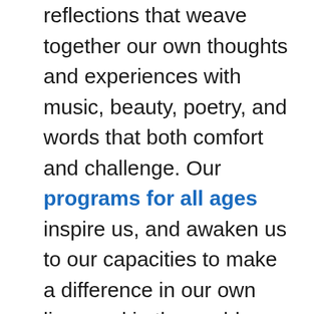reflections that weave together our own thoughts and experiences with music, beauty, poetry, and words that both comfort and challenge. Our programs for all ages inspire us, and awaken us to our capacities to make a difference in our own lives and in the world.

We are inspired not just by religious sources but by the